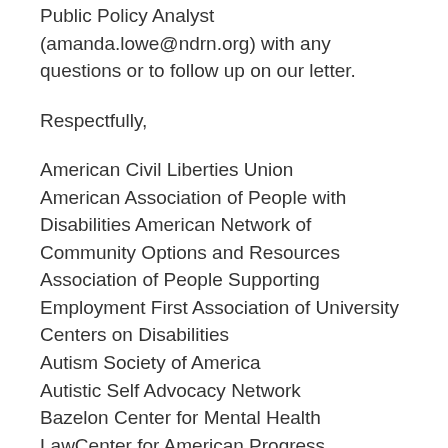Public Policy Analyst (amanda.lowe@ndrn.org) with any questions or to follow up on our letter.
Respectfully,
American Civil Liberties Union American Association of People with Disabilities American Network of Community Options and Resources Association of People Supporting Employment First Association of University Centers on Disabilities Autism Society of America Autistic Self Advocacy Network Bazelon Center for Mental Health LawCenter for American Progress